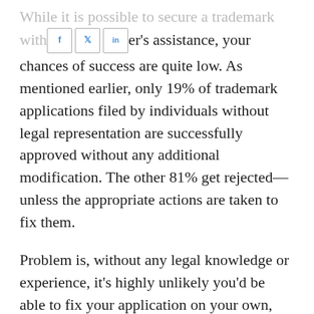While it is possible to secure a trademark without a lawyer's assistance, your chances of success are quite low. As mentioned earlier, only 19% of trademark applications filed by individuals without legal representation are successfully approved without any additional modification. The other 81% get rejected—unless the appropriate actions are taken to fix them.
Problem is, without any legal knowledge or experience, it's highly unlikely you'd be able to fix your application on your own, and would need to pay a lawyer $300 to $500 per hour—on top of what you already paid—to